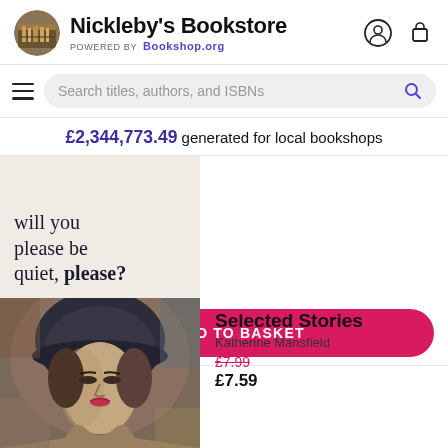Nickleby's Bookstore POWERED BY Bookshop.org
Search titles, authors, and ISBNs
£2,344,773.49 generated for local bookshops
[Figure (photo): Book cover showing text: 'will you please be quiet, please?']
ADD TO BASKET
[Figure (photo): Book cover painting of a woman in a hat - Selected Stories by Katherine Mansfield]
Selected Stories
Katherine Mansfield
£7.99
£7.59